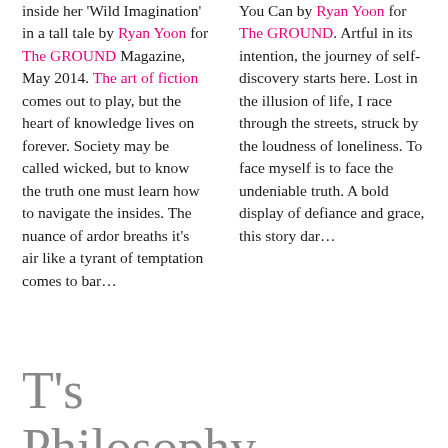inside her 'Wild Imagination' in a tall tale by Ryan Yoon for The GROUND Magazine, May 2014. The art of fiction comes out to play, but the heart of knowledge lives on forever. Society may be called wicked, but to know the truth one must learn how to navigate the insides. The nuance of ardor breaths it's air like a tyrant of temptation comes to bar…
You Can by Ryan Yoon for The GROUND. Artful in its intention, the journey of self-discovery starts here. Lost in the illusion of life, I race through the streets, struck by the loudness of loneliness. To face myself is to face the undeniable truth. A bold display of defiance and grace, this story dar…
T's Philosophy